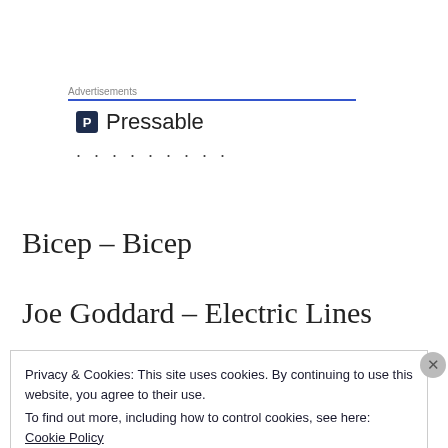Advertisements
[Figure (logo): Pressable logo with dark square icon containing letter P and the word Pressable, followed by a row of dots]
Bicep – Bicep
Joe Goddard – Electric Lines
Privacy & Cookies: This site uses cookies. By continuing to use this website, you agree to their use.
To find out more, including how to control cookies, see here:
Cookie Policy
Close and accept